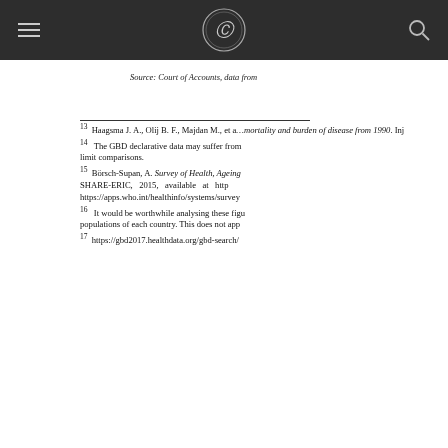Source: Court of Accounts, data from
13 Haagsma J. A., Olij B. F., Majdan M., et a... mortality and burden of disease from 1990. Inj
14 The GBD declarative data may suffer from... limit comparisons.
15 Börsch-Supan, A. Survey of Health, Ageing... SHARE-ERIC, 2015, available at http... https://apps.who.int/healthinfo/systems/survey
16 It would be worthwhile analysing these figu... populations of each country. This does not app
17 https://gbd2017.healthdata.org/gbd-search/